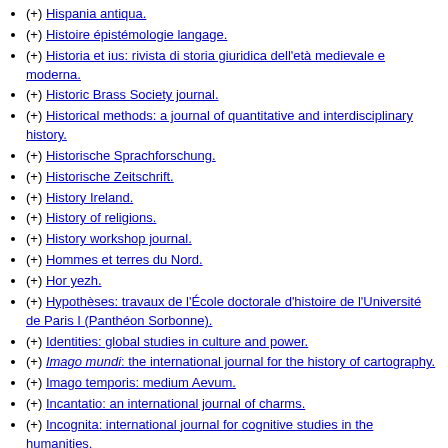(+) Hispania antiqua.
(+) Histoire épistémologie langage.
(+) Historia et ius: rivista di storia giuridica dell'età medievale e moderna.
(+) Historic Brass Society journal.
(+) Historical methods: a journal of quantitative and interdisciplinary history.
(+) Historische Sprachforschung.
(+) Historische Zeitschrift.
(+) History Ireland.
(+) History of religions.
(+) History workshop journal.
(+) Hommes et terres du Nord.
(+) Hor yezh.
(+) Hypothèses: travaux de l'École doctorale d'histoire de l'Université de Paris I (Panthéon Sorbonne).
(+) Identities: global studies in culture and power.
(+) Imago mundi: the international journal for the history of cartography.
(+) Imago temporis: medium Aevum.
(+) Incantatio: an international journal of charms.
(+) Incognita: international journal for cognitive studies in the humanities.
(+) Incontri linguistici: rivista delle Università degli Studi di Trieste e di Udine.
(+) Indo-European linguistics.
(+) Indogermanische Forschungen: Zeitschrift für Indogermanistik und allgemeine Sprachwissenschaft.
(+) Innes review: journal of the Scottish Catholic Historical Association.